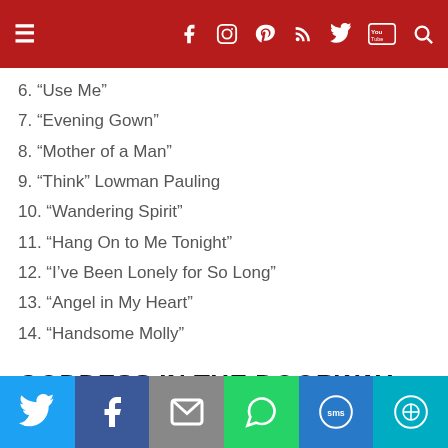Navigation bar with social icons
6. “Use Me”
7. “Evening Gown”
8. “Mother of a Man”
9. “Think” Lowman Pauling
10. “Wandering Spirit”
11. “Hang On to Me Tonight”
12. “I’ve Been Lonely for So Long”
13. “Angel in My Heart”
14. “Handsome Molly”
GODDESS IN THE DOORWAY (2001)
1. “Visions of Paradise”
2. “Joy”
Share bar: Twitter, Facebook, Email, WhatsApp, SMS, More